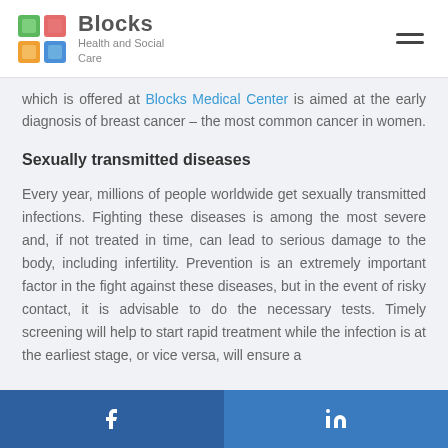Blocks Health and Social Care
which is offered at Blocks Medical Center is aimed at the early diagnosis of breast cancer – the most common cancer in women.
Sexually transmitted diseases
Every year, millions of people worldwide get sexually transmitted infections. Fighting these diseases is among the most severe and, if not treated in time, can lead to serious damage to the body, including infertility. Prevention is an extremely important factor in the fight against these diseases, but in the event of risky contact, it is advisable to do the necessary tests. Timely screening will help to start rapid treatment while the infection is at the earliest stage, or vice versa, will ensure a
Facebook | LinkedIn